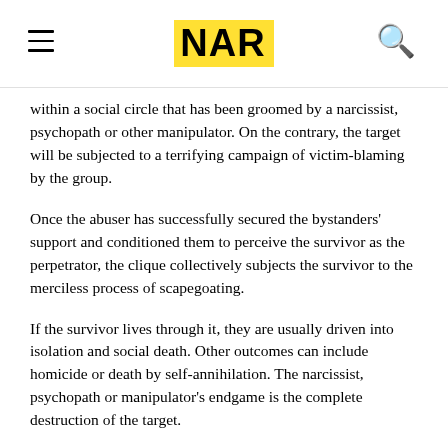NAR
within a social circle that has been groomed by a narcissist, psychopath or other manipulator. On the contrary, the target will be subjected to a terrifying campaign of victim-blaming by the group.
Once the abuser has successfully secured the bystanders' support and conditioned them to perceive the survivor as the perpetrator, the clique collectively subjects the survivor to the merciless process of scapegoating.
If the survivor lives through it, they are usually driven into isolation and social death. Other outcomes can include homicide or death by self-annihilation. The narcissist, psychopath or manipulator's endgame is the complete destruction of the target.
DARVO as a collective grooming tactic
The cognitive distortions created by DARVO cultivate an